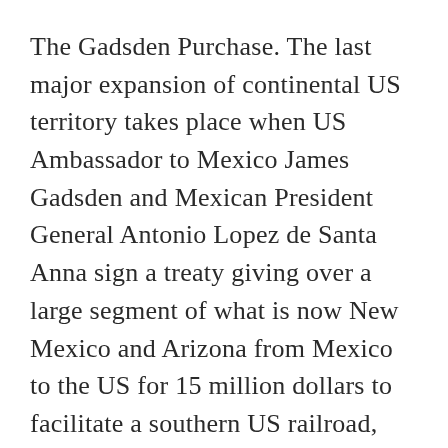The Gadsden Purchase. The last major expansion of continental US territory takes place when US Ambassador to Mexico James Gadsden and Mexican President General Antonio Lopez de Santa Anna sign a treaty giving over a large segment of what is now New Mexico and Arizona from Mexico to the US for 15 million dollars to facilitate a southern US railroad, because a more northern route was too mountainous. The story seems pretty plain. But as I researched it, I found more and more intrigue and drama to be involved.